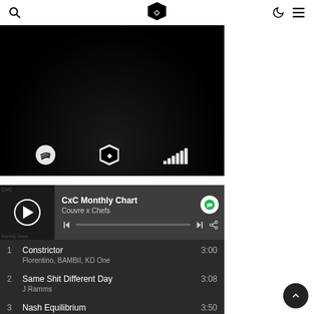CxC logo, search icon, moon icon, hamburger menu
[Figure (photo): CxC Monthly Chart hero image on black background with Spotify, CxC, and Deezer logos at bottom]
[Figure (screenshot): Spotify embedded player widget for CxC Monthly Chart by Couvre x Chefs with play button, progress bar, and track listing showing: 1. Constrictor - Florentino, BAMBII, KD One 3:00 / 2. Same Shit Different Day - J Ramms 3:08 / 3. Nash Equilibrium 3:50]